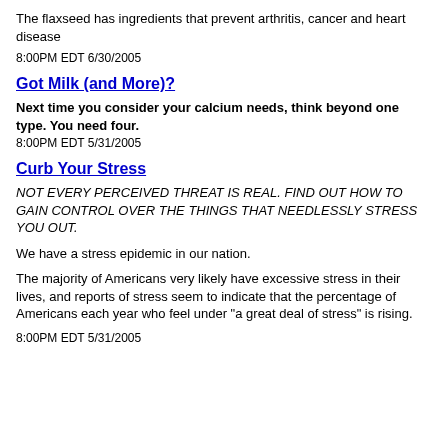The flaxseed has ingredients that prevent arthritis, cancer and heart disease
8:00PM EDT 6/30/2005
Got Milk (and More)?
Next time you consider your calcium needs, think beyond one type. You need four.
8:00PM EDT 5/31/2005
Curb Your Stress
NOT EVERY PERCEIVED THREAT IS REAL. FIND OUT HOW TO GAIN CONTROL OVER THE THINGS THAT NEEDLESSLY STRESS YOU OUT.
We have a stress epidemic in our nation.
The majority of Americans very likely have excessive stress in their lives, and reports of stress seem to indicate that the percentage of Americans each year who feel under "a great deal of stress" is rising.
8:00PM EDT 5/31/2005